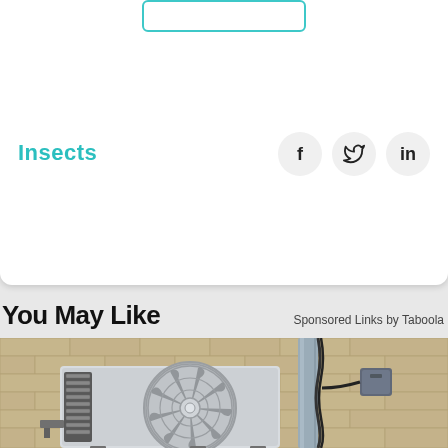Insects
f  y  in
You May Like
Sponsored Links by Taboola
[Figure (photo): An outdoor air conditioning unit (mini-split compressor) mounted on a brick wall, with electrical conduit and wiring running up the wall and a small electrical box mounted to the right.]